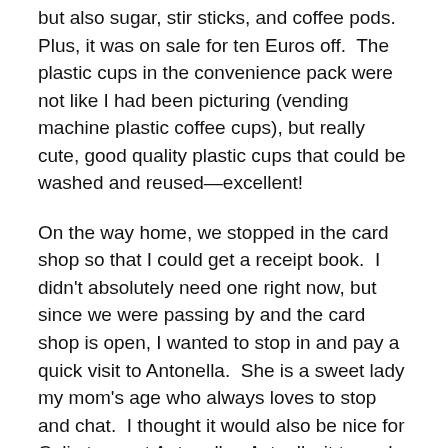but also sugar, stir sticks, and coffee pods.  Plus, it was on sale for ten Euros off.  The plastic cups in the convenience pack were not like I had been picturing (vending machine plastic coffee cups), but really cute, good quality plastic cups that could be washed and reused—excellent!
On the way home, we stopped in the card shop so that I could get a receipt book.  I didn't absolutely need one right now, but since we were passing by and the card shop is open, I wanted to stop in and pay a quick visit to Antonella.  She is a sweet lady my mom's age who always loves to stop and chat.  I thought it would also be nice for Celia to meet Antonella.  Actually, it turned out to be nice for both of them, and for me, too.  Antonella has worked alone in the card shop for the past thirty years, so she always appreciates customers, but also a friendly visit.